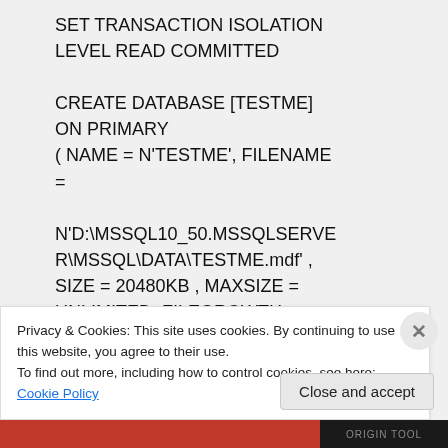SET TRANSACTION ISOLATION LEVEL READ COMMITTED

CREATE DATABASE [TESTME]
ON PRIMARY
( NAME = N'TESTME', FILENAME =

N'D:\MSSQL10_50.MSSQLSERVER\MSSQL\DATA\TESTME.mdf' ,
SIZE = 20480KB , MAXSIZE =
UNLIMITED, FILEGROWTH =
Privacy & Cookies: This site uses cookies. By continuing to use this website, you agree to their use.
To find out more, including how to control cookies, see here: Cookie Policy